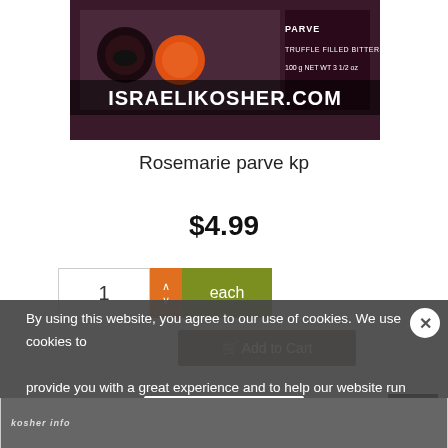[Figure (photo): Product image of Rosemarie parve kp chocolate box from IsraeliKosher.com - shows truffle filled bitter-sweet chocolate, 100g NET WT 3 1/2 oz, with watermark ISRAELIKOSHER.COM]
Rosemarie parve kp
$4.99
1 each (quantity selector with up/down arrows)
Add to Cart
By using this website, you agree to our use of cookies. We use cookies to provide you with a great experience and to help our website run effectively.
More info.
Accept Cookie